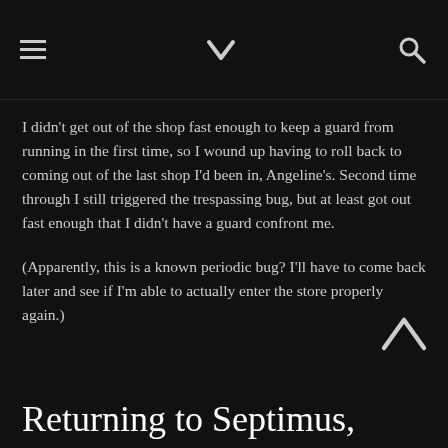☰ ⌄ 🔍
I didn't get out of the shop fast enough to keep a guard from running in the first time, so I wound up having to roll back to coming out of the last shop I'd been in, Angeline's. Second time through I still triggered the trespassing bug, but at least got out fast enough that I didn't have a guard confront me.
(Apparently, this is a known periodic bug? I'll have to come back later and see if I'm able to actually enter the store properly again.)
Returning to Septimus,